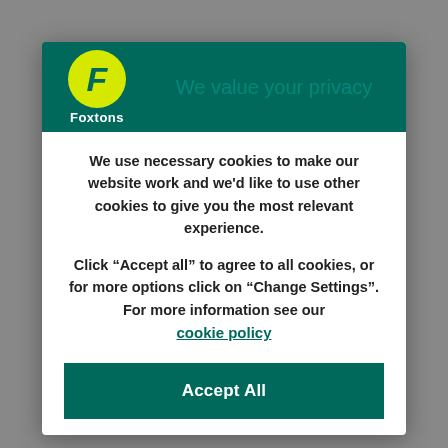[Figure (logo): Foxtons logo: teal background with yellow circle containing stylized italic F, white Foxtons text below]
We value your privacy
We use necessary cookies to make our website work and we'd like to use other cookies to give you the most relevant experience.
Click “Accept all” to agree to all cookies, or for more options click on “Change Settings”. For more information see our cookie policy